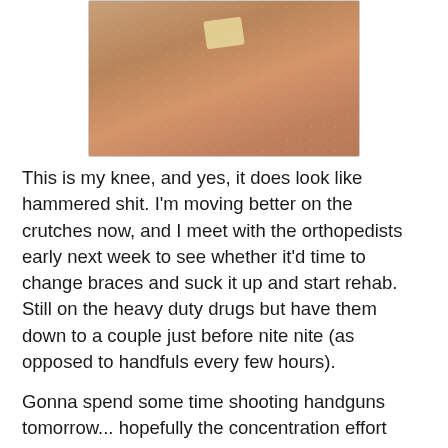[Figure (photo): A photo of a knee with a bandage/dressing on it, showing swollen reddish skin on a floral background.]
This is my knee, and yes, it does look like hammered shit. I'm moving better on the crutches now, and I meet with the orthopedists early next week to see whether it'd time to change braces and suck it up and start rehab. Still on the heavy duty drugs but have them down to a couple just before nite nite (as opposed to handfuls every few hours).
Gonna spend some time shooting handguns tomorrow... hopefully the concentration effort won't put me back in bed the way it did before. Managed to cook dinner last night — blazing shrimp scampi — and not poison anyone. Gonna work with the Kahr CW9, the Glock G26 and the Ruger SR9c. I suspect most of my shooting will be from a seated position, maybe with chilled lemonade and some bonbons.
I still don't think I can get into a decent prone position...well